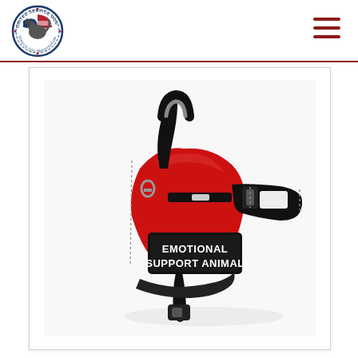[Figure (logo): United Service Dog circular logo with American flag and dog silhouette, bordered with text reading UNITED SERVICE DOG and SERVICE DOG REGISTRATION]
[Figure (photo): Red and black dog harness vest with black patch reading EMOTIONAL SUPPORT ANIMAL in white text, with reflective strips and buckle straps]